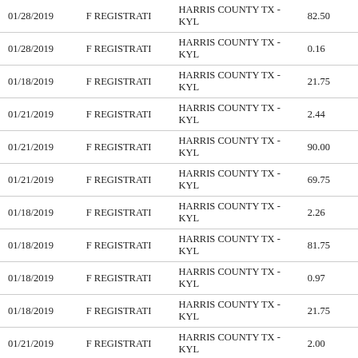| Date | Name | Description | Amount |
| --- | --- | --- | --- |
| 01/28/2019 | F REGISTRATI | HARRIS COUNTY TX - KYL | 82.50 |
| 01/28/2019 | F REGISTRATI | HARRIS COUNTY TX - KYL | 0.16 |
| 01/18/2019 | F REGISTRATI | HARRIS COUNTY TX - KYL | 21.75 |
| 01/21/2019 | F REGISTRATI | HARRIS COUNTY TX - KYL | 2.44 |
| 01/21/2019 | F REGISTRATI | HARRIS COUNTY TX - KYL | 90.00 |
| 01/21/2019 | F REGISTRATI | HARRIS COUNTY TX - KYL | 69.75 |
| 01/18/2019 | F REGISTRATI | HARRIS COUNTY TX - KYL | 2.26 |
| 01/18/2019 | F REGISTRATI | HARRIS COUNTY TX - KYL | 81.75 |
| 01/18/2019 | F REGISTRATI | HARRIS COUNTY TX - KYL | 0.97 |
| 01/18/2019 | F REGISTRATI | HARRIS COUNTY TX - KYL | 21.75 |
| 01/21/2019 | F REGISTRATI | HARRIS COUNTY TX - KYL | 2.00 |
| 01/18/2019 | F REGISTRATI | HARRIS COUNTY TX - KYL | 0.97 |
| 01/09/2019 | F REGISTRATI | HARRIS COUNTY TX - KYL | 33.00 |
| 01/09/2019 | F REGISTRATI | HARRIS COUNTY TX - KYL | 1.21 |
| 01/08/2019 | G A CARMONAJ | EB VEGETATIVE MANAGEM | 45.00 |
| 01/28/2019 | G A CARMONAJ | THE HOME DEPOT #0565 | 44.18 |